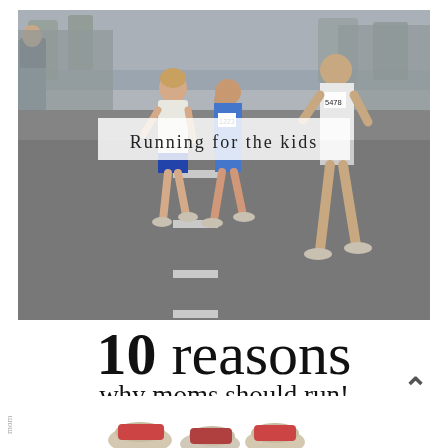[Figure (photo): Photograph of runners in a road race, with crowd spectators lining the street. Multiple runners visible including a woman in white and a man in blue triathlon gear with number 1223, and another runner with number 5478.]
Running for the kids
10 reasons why moms should run!